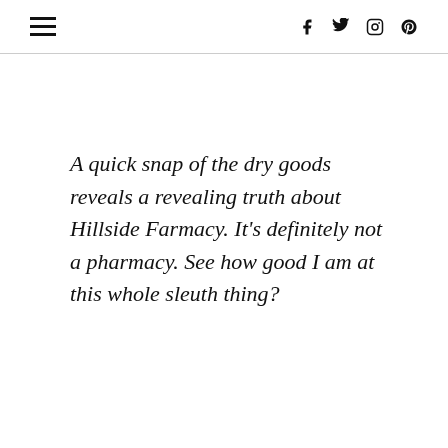≡  f  twitter  instagram  pinterest
A quick snap of the dry goods reveals a revealing truth about Hillside Farmacy. It's definitely not a pharmacy. See how good I am at this whole sleuth thing?